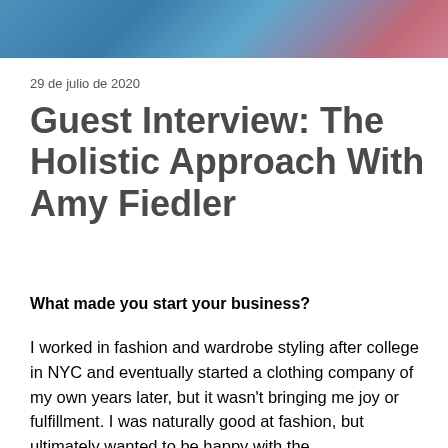[Figure (photo): Partial photo banner at the top of the page showing a person in a colorful outfit against a blue background]
29 de julio de 2020
Guest Interview: The Holistic Approach With Amy Fiedler
What made you start your business?
I worked in fashion and wardrobe styling after college in NYC and eventually started a clothing company of my own years later, but it wasn't bringing me joy or fulfillment. I was naturally good at fashion, but ultimately wanted to be happy with the